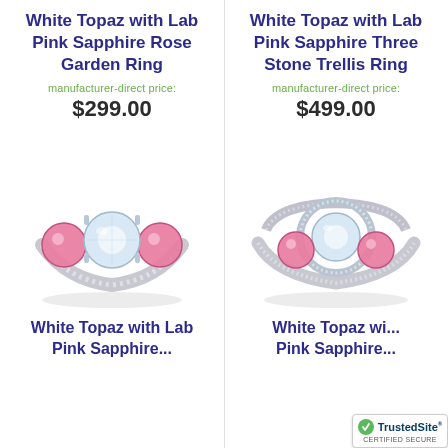White Topaz with Lab Pink Sapphire Rose Garden Ring
manufacturer-direct price:
$299.00
White Topaz with Lab Pink Sapphire Three Stone Trellis Ring
manufacturer-direct price:
$499.00
[Figure (photo): Silver ring with large white topaz center stone and two round pink sapphires on either side]
[Figure (photo): Silver three stone trellis ring with white topaz and two pink sapphires]
White Topaz with Lab Pink Sapphire...
White Topaz wi...
[Figure (logo): TrustedSite CERTIFIED SECURE badge]